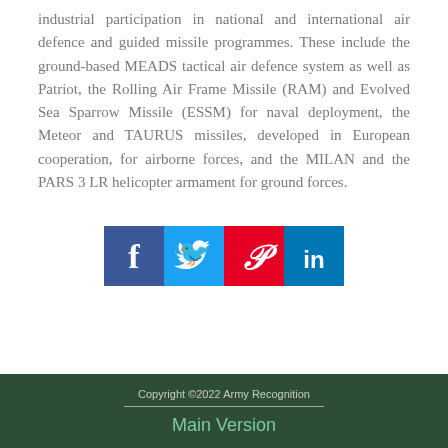industrial participation in national and international air defence and guided missile programmes. These include the ground-based MEADS tactical air defence system as well as Patriot, the Rolling Air Frame Missile (RAM) and Evolved Sea Sparrow Missile (ESSM) for naval deployment, the Meteor and TAURUS missiles, developed in European cooperation, for airborne forces, and the MILAN and the PARS 3 LR helicopter armament for ground forces.
[Figure (infographic): Four social media icons in a row: Facebook (dark blue), Twitter (light blue), Pinterest (red), LinkedIn (teal/blue)]
Copyright ©2022 Army Recognition
Main Version